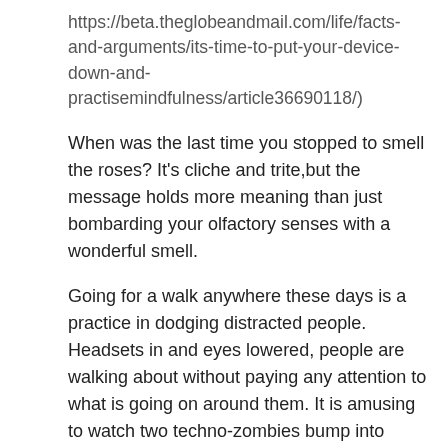https://beta.theglobeandmail.com/life/facts-and-arguments/its-time-to-put-your-device-down-and-practisemindfulness/article36690118/)
When was the last time you stopped to smell the roses? It's cliche and trite,but the message holds more meaning than just bombarding your olfactory senses with a wonderful smell.
Going for a walk anywhere these days is a practice in dodging distracted people. Headsets in and eyes lowered, people are walking about without paying any attention to what is going on around them. It is amusing to watch two techno-zombies bump into each other, upset with being interrupted from their screen. Just the other day I saw two heads-down people try to avoid each other, fail by bumping into each other, and, then,